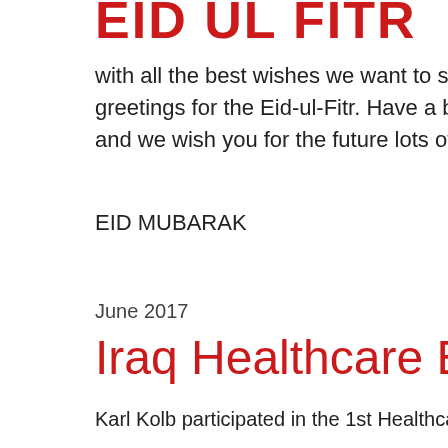EID UL FITR
with all the best wishes we want to send you a greetings for the Eid-ul-Fitr. Have a blessed and and we wish you for the future lots of love, hea EID MUBARAK
June 2017
Iraq Healthcare Exhib
Karl Kolb participated in the 1st Healthcare Exh